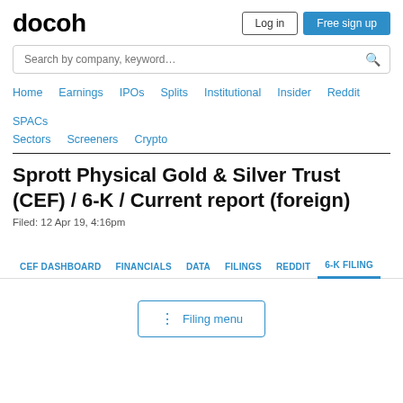docoh
Log in | Free sign up
Search by company, keyword…
Home  Earnings  IPOs  Splits  Institutional  Insider  Reddit  SPACs
Sectors  Screeners  Crypto
Sprott Physical Gold & Silver Trust (CEF) / 6-K / Current report (foreign)
Filed: 12 Apr 19, 4:16pm
CEF DASHBOARD  FINANCIALS  DATA  FILINGS  REDDIT  6-K FILING
⋮ Filing menu